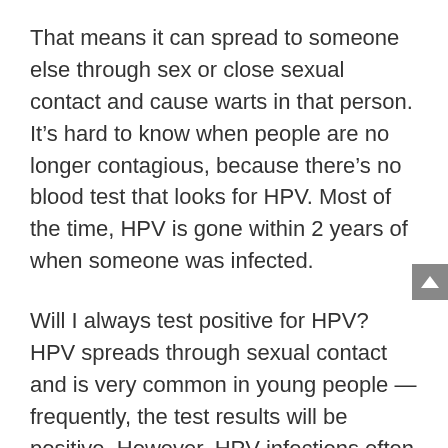That means it can spread to someone else through sex or close sexual contact and cause warts in that person. It’s hard to know when people are no longer contagious, because there’s no blood test that looks for HPV. Most of the time, HPV is gone within 2 years of when someone was infected.
Will I always test positive for HPV? HPV spreads through sexual contact and is very common in young people — frequently, the test results will be positive. However, HPV infections often clear on their own within a year or two.
Do you have HPV for life? You can have HPV for many years without it causing problems. You can